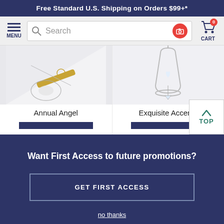Free Standard U.S. Shipping on Orders $99+*
[Figure (screenshot): Navigation bar with hamburger menu, search bar with camera icon, and cart icon with badge showing 0]
[Figure (photo): Product image for Annual Angel — close-up of a decorative angel figurine with gold and silver details]
Annual Angel
[Figure (photo): Product image for Exquisite Accents — glass bell with hanging crystal heart charm]
Exquisite Accents
[Figure (other): TOP scroll-to-top button with upward chevron arrow]
Want First Access to future promotions?
GET FIRST ACCESS
no thanks